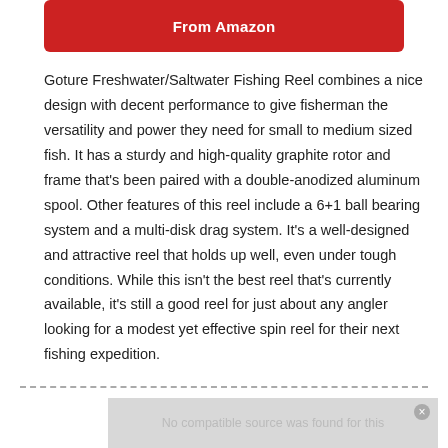[Figure (other): Red Amazon button with white bold text 'From Amazon']
Goture Freshwater/Saltwater Fishing Reel combines a nice design with decent performance to give fisherman the versatility and power they need for small to medium sized fish. It has a sturdy and high-quality graphite rotor and frame that's been paired with a double-anodized aluminum spool. Other features of this reel include a 6+1 ball bearing system and a multi-disk drag system. It's a well-designed and attractive reel that holds up well, even under tough conditions. While this isn't the best reel that's currently available, it's still a good reel for just about any angler looking for a modest yet effective spin reel for their next fishing expedition.
[Figure (other): Video placeholder with text 'No compatible source was found for this']